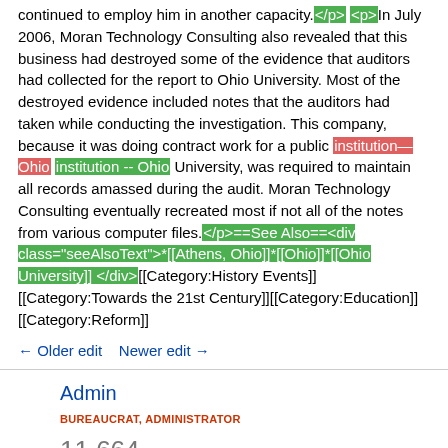continued to employ him in another capacity. </p> <p>In July 2006, Moran Technology Consulting also revealed that this business had destroyed some of the evidence that auditors had collected for the report to Ohio University. Most of the destroyed evidence included notes that the auditors had taken while conducting the investigation. This company, because it was doing contract work for a public institution—Ohio institution -- Ohio University, was required to maintain all records amassed during the audit. Moran Technology Consulting eventually recreated most if not all of the notes from various computer files.</p>==See Also==<div class="seeAlsoText">*[[Athens, Ohio]]*[[Ohio]]*[[Ohio University]]</div>[[Category:History Events]] [[Category:Towards the 21st Century]][[Category:Education]][[Category:Reform]]
← Older edit   Newer edit →
Admin
BUREAUCRAT, ADMINISTRATOR
11,664 EDITS